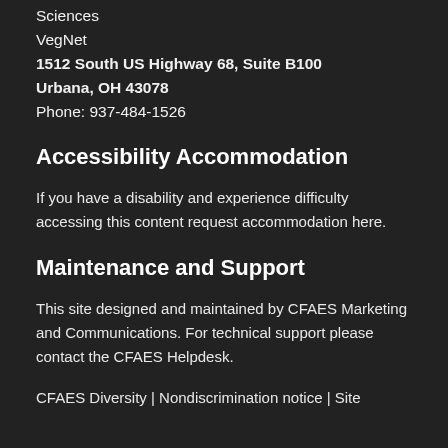Sciences
VegNet
1512 South US Highway 68, Suite B100
Urbana, OH 43078
Phone: 937-484-1526
Accessibility Accommodation
If you have a disability and experience difficulty accessing this content request accommodation here.
Maintenance and Support
This site designed and maintained by CFAES Marketing and Communications. For technical support please contact the CFAES Helpdesk.
CFAES Diversity | Nondiscrimination notice | Site